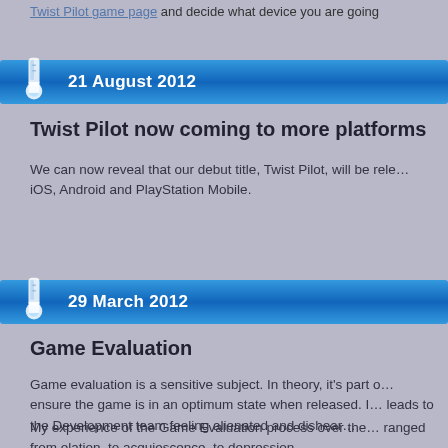Twist Pilot game page and decide what device you are going
21 August 2012
Twist Pilot now coming to more platforms
We can now reveal that our debut title, Twist Pilot, will be released on iOS, Android and PlayStation Mobile.
29 March 2012
Game Evaluation
Game evaluation is a sensitive subject. In theory, it's part of ensuring the game is in an optimum state when released. It leads to the Development team feeling alienated and disheartened.
My experience of the Game Evaluation process over the years ranged from elation, to acquiescence, to depression.